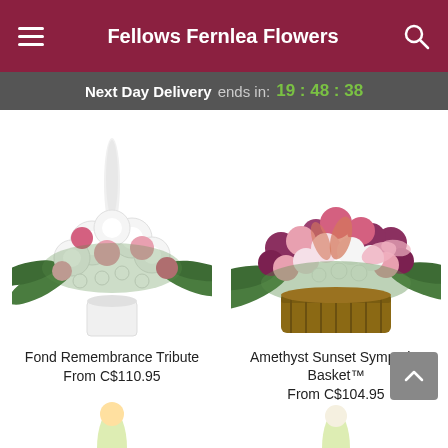Fellows Fernlea Flowers
Next Day Delivery ends in: 19:48:38
[Figure (photo): Fond Remembrance Tribute floral arrangement: white and pink flowers with green ferns in a white pot]
Fond Remembrance Tribute
From C$110.95
[Figure (photo): Amethyst Sunset Sympathy Basket floral arrangement: pink, purple, and white flowers in a wicker basket]
Amethyst Sunset Sympathy Basket™
From C$104.95